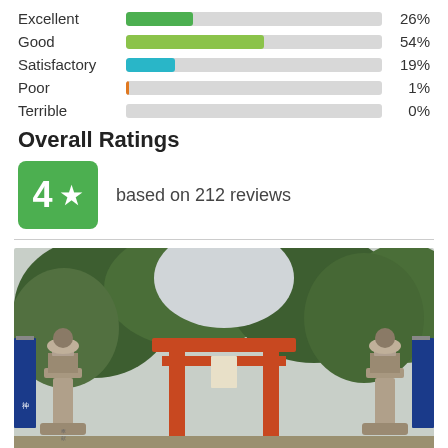[Figure (bar-chart): Ratings breakdown]
Overall Ratings
4 ★ based on 212 reviews
[Figure (photo): Japanese torii gate entrance with stone lanterns and lush green trees in the background, with blue banners on the sides]